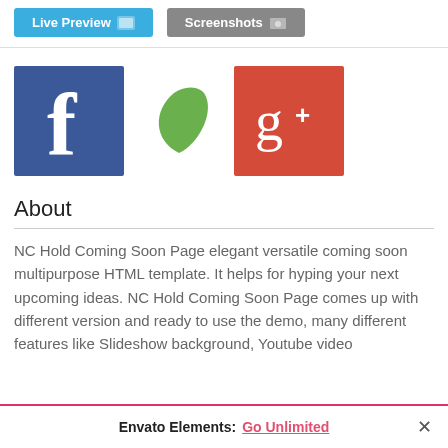[Figure (screenshot): Top navigation buttons: 'Live Preview' (blue) and 'Screenshots' (gray)]
[Figure (logo): Three logos in a row: Facebook (blue square with white 'f'), green leaf icon, Google+ (red square with white 'g+')]
About
NC Hold Coming Soon Page elegant versatile coming soon multipurpose HTML template. It helps for hyping your next upcoming ideas. NC Hold Coming Soon Page comes up with different version and ready to use the demo, many different features like Slideshow background, Youtube video
Envato Elements: Go Unlimited ×